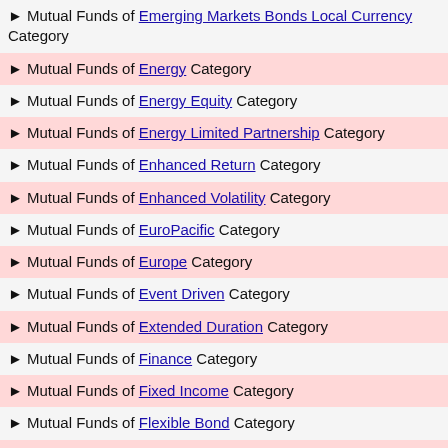► Mutual Funds of Emerging Markets Bonds Local Currency Category
► Mutual Funds of Energy Category
► Mutual Funds of Energy Equity Category
► Mutual Funds of Energy Limited Partnership Category
► Mutual Funds of Enhanced Return Category
► Mutual Funds of Enhanced Volatility Category
► Mutual Funds of EuroPacific Category
► Mutual Funds of Europe Category
► Mutual Funds of Event Driven Category
► Mutual Funds of Extended Duration Category
► Mutual Funds of Finance Category
► Mutual Funds of Fixed Income Category
► Mutual Funds of Flexible Bond Category
► Mutual Funds of Flexible Income Category
► Mutual Funds of Floating Rate Category
► Mutual Funds of Florida Municipal Category
► Mutual Funds of Foreign Large Blend Category